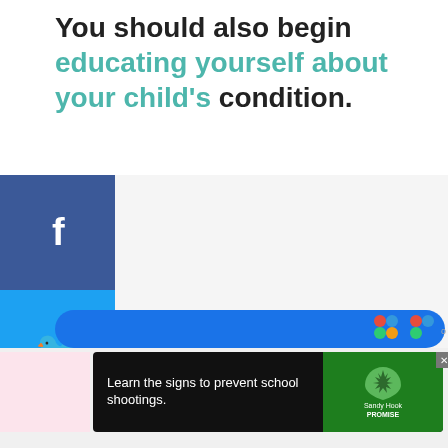You should also begin educating yourself about your child's condition.
[Figure (screenshot): Social media share sidebar with buttons for Facebook, Twitter, Pinterest, LinkedIn, Yummly, and Flipboard on the left side of the page]
[Figure (screenshot): Sandy Hook Promise advertisement banner at the bottom: 'Learn the signs to prevent school shootings.' with green tree logo]